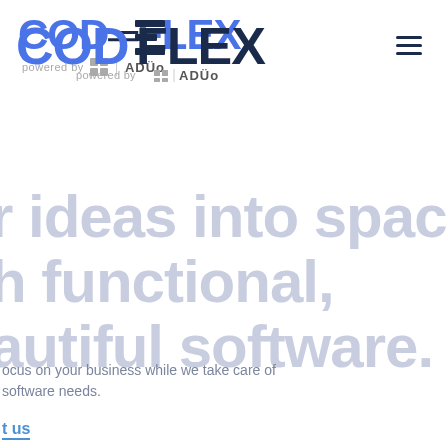[Figure (logo): CODEFLEX logo in blue and dark navy, with 'powered by ADUO' subtitle below]
[Figure (other): Hamburger menu icon (three horizontal lines) in dark navy]
ur ideas into space h functional, autiful software.
ocus on your business while we take care of software needs.
t us